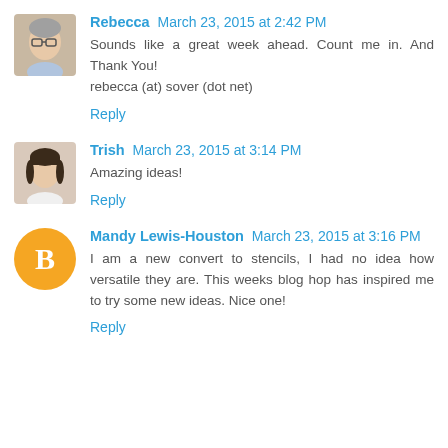[Figure (photo): Avatar photo of Rebecca, a woman with glasses and short hair]
Rebecca March 23, 2015 at 2:42 PM
Sounds like a great week ahead. Count me in. And Thank You!
rebecca (at) sover (dot net)
Reply
[Figure (photo): Avatar photo of Trish, a woman with dark hair]
Trish March 23, 2015 at 3:14 PM
Amazing ideas!
Reply
[Figure (logo): Blogger orange circle logo with B]
Mandy Lewis-Houston March 23, 2015 at 3:16 PM
I am a new convert to stencils, I had no idea how versatile they are. This weeks blog hop has inspired me to try some new ideas. Nice one!
Reply